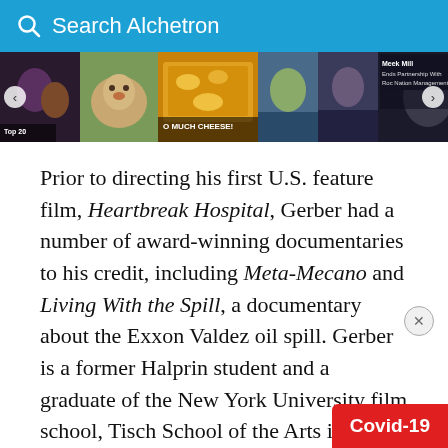Search Alchetron
[Figure (screenshot): Alchetron website carousel showing multiple article thumbnails including Top 20, food/cheese image, and Meek Mill news article]
Prior to directing his first U.S. feature film, Heartbreak Hospital, Gerber had a number of award-winning documentaries to his credit, including Meta-Mecano and Living With the Spill, a documentary about the Exxon Valdez oil spill. Gerber is a former Halprin student and a graduate of the New York University film school, Tisch School of the Arts in 1990. Before he became a film director, Gerber acted in over 30 plays at theaters throughout Europe including the German State theaters of Mannheim, Dortmund, Wuppe... in Vienna and Basel.